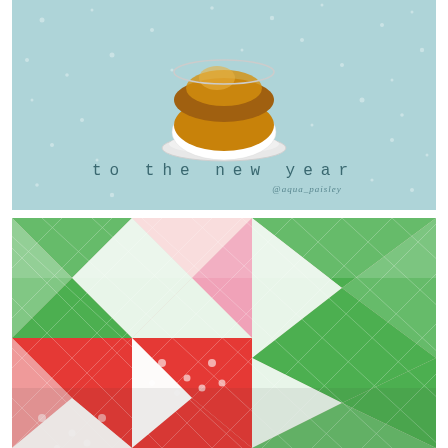[Figure (photo): A light blue winter greeting card with white snowflake/dot background, featuring a golden-amber colored drink in a rounded glass or mug on a white saucer in the upper center. Text reads 'to the new year' in a spaced monospace typewriter font in dark teal. Below that in smaller italic text '@aqua_paisley'.]
[Figure (photo): Close-up photograph of a Christmas quilt with star/pinwheel pattern blocks. The quilt features red and white polka dot fabric, green patterned fabric, and white fabric with red toile-style print. The blocks create eight-pointed star pinwheel shapes. The quilt stitching lines are visible in a diagonal grid pattern.]